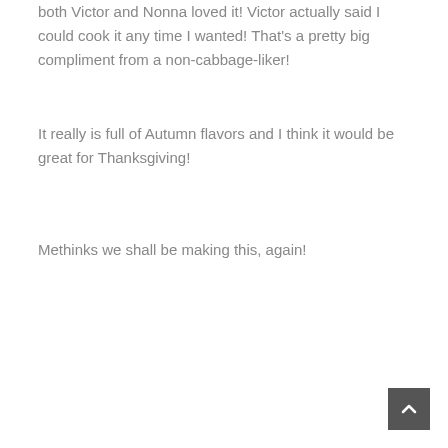both Victor and Nonna loved it! Victor actually said I could cook it any time I wanted! That's a pretty big compliment from a non-cabbage-liker!
It really is full of Autumn flavors and I think it would be great for Thanksgiving!
Methinks we shall be making this, again!